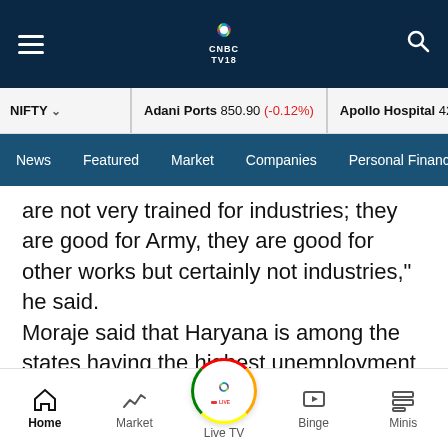CNBC TV18 navigation bar with hamburger menu, logo, and search icon
NIFTY | Adani Ports 850.90 (-0.12%) | Apollo Hospital 4282.55 (-0...
News | Featured | Market | Companies | Personal Finance
are not very trained for industries; they are good for Army, they are good for other works but certainly not industries," he said.
Moraje said that Haryana is among the states having the highest unemployment rates and therefore, a law of this kind will bring down the migrant labour in Haryana and it will be difficult t find local labour to carry out certain jobs.
Home | Market | Live TV | Binge | Minis